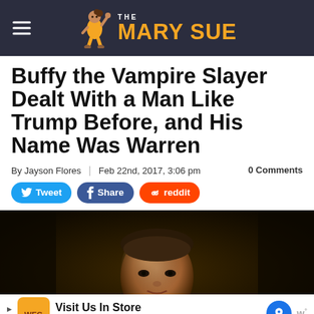The Mary Sue
Buffy the Vampire Slayer Dealt With a Man Like Trump Before, and His Name Was Warren
By Jayson Flores | Feb 22nd, 2017, 3:06 pm   0 Comments
Tweet  Share  reddit
[Figure (photo): Dark portrait photo of a young man (Warren character from Buffy the Vampire Slayer) in dim lighting]
Visit Us In Store Wegmans